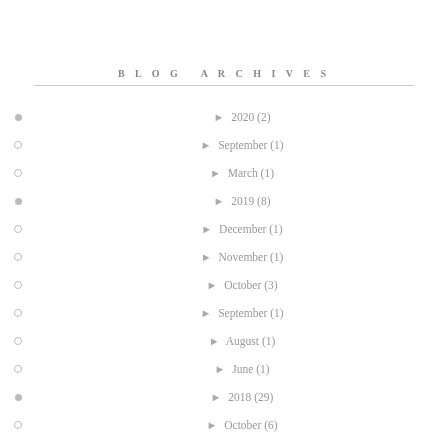BLOG ARCHIVES
► 2020 (2)
► September (1)
► March (1)
► 2019 (8)
► December (1)
► November (1)
► October (3)
► September (1)
► August (1)
► June (1)
► 2018 (29)
► October (6)
► July (2)
► June (5)